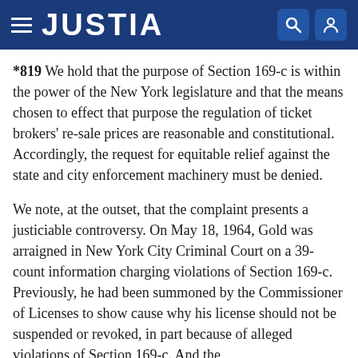JUSTIA
*819 We hold that the purpose of Section 169-c is within the power of the New York legislature and that the means chosen to effect that purpose the regulation of ticket brokers' re-sale prices are reasonable and constitutional. Accordingly, the request for equitable relief against the state and city enforcement machinery must be denied.
We note, at the outset, that the complaint presents a justiciable controversy. On May 18, 1964, Gold was arraigned in New York City Criminal Court on a 39-count information charging violations of Section 169-c. Previously, he had been summoned by the Commissioner of Licenses to show cause why his license should not be suspended or revoked, in part because of alleged violations of Section 169-c. And the